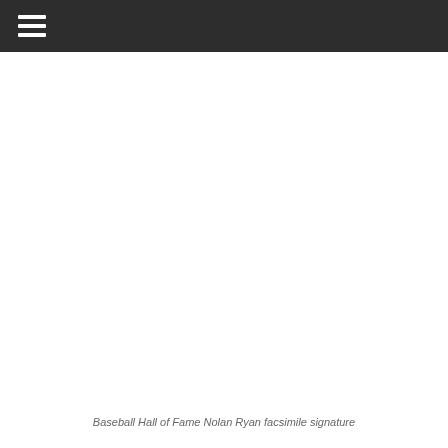≡
Baseball Hall of Fame Nolan Ryan facsimile signature